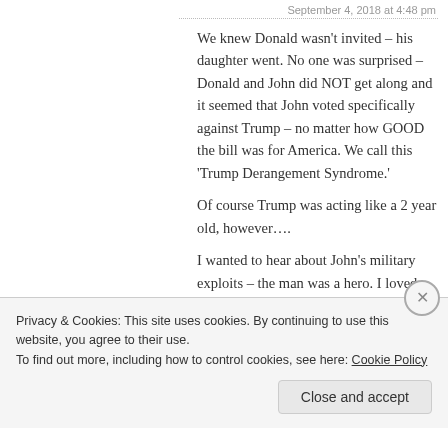September 4, 2018 at 4:48 pm
We knew Donald wasn't invited – his daughter went. No one was surprised – Donald and John did NOT get along and it seemed that John voted specifically against Trump – no matter how GOOD the bill was for America. We call this ‘Trump Derangement Syndrome.’
Of course Trump was acting like a 2 year old, however....
I wanted to hear about John’s military exploits – the man was a hero. I loved Joe Liebermann telling jokes about the man.
Privacy & Cookies: This site uses cookies. By continuing to use this website, you agree to their use.
To find out more, including how to control cookies, see here: Cookie Policy
Close and accept